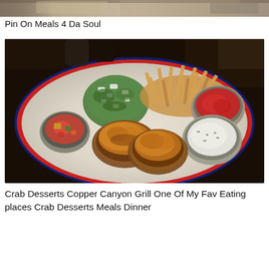[Figure (photo): Top portion of a food photo, cropped — partial view of a plate with food items, dark background.]
Pin On Meals 4 Da Soul
[Figure (photo): A blue-rimmed plate with crab cakes, a mound of spinach and feta salad, a pile of thin-cut French fries, a small bowl of red sauce (ketchup), a small bowl of white tartar sauce, and a small bowl of vegetable relish/salsa. Restaurant dining table background.]
Crab Desserts Copper Canyon Grill One Of My Fav Eating places Crab Desserts Meals Dinner